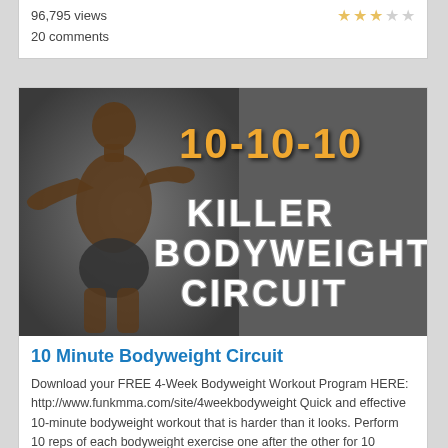96,795 views
20 comments
[Figure (photo): Thumbnail image for '10 Minute Bodyweight Circuit' showing a boxer with text overlay '10-10-10 KILLER BODYWEIGHT CIRCUIT' on a dark background]
10 Minute Bodyweight Circuit
Download your FREE 4-Week Bodyweight Workout Program HERE: http://www.funkmma.com/site/4weekbodyweight Quick and effective 10-minute bodyweight workout that is harder than it looks. Perform 10 reps of each bodyweight exercise one after the other for 10 minutes (More)
1,668,584 views
20 comments